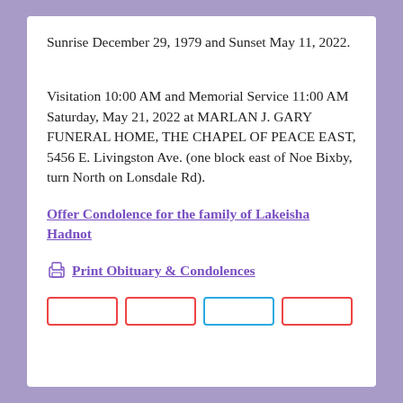Sunrise December 29, 1979 and Sunset May 11, 2022.
Visitation 10:00 AM and Memorial Service 11:00 AM Saturday, May 21, 2022 at MARLAN J. GARY FUNERAL HOME, THE CHAPEL OF PEACE EAST, 5456 E. Livingston Ave. (one block east of Noe Bixby, turn North on Lonsdale Rd).
Offer Condolence for the family of Lakeisha Hadnot
Print Obituary & Condolences